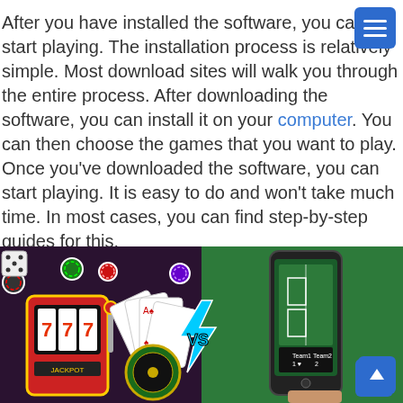After you have installed the software, you can start playing. The installation process is relatively simple. Most download sites will walk you through the entire process. After downloading the software, you can install it on your computer. You can then choose the games that you want to play. Once you've downloaded the software, you can start playing. It is easy to do and won't take much time. In most cases, you can find step-by-step guides for this.
[Figure (illustration): Casino gaming illustration showing slot machine with lucky 7s, playing cards fanned out, poker chips, roulette wheel on the left half with a dark purple background, and a hand holding a smartphone showing a sports betting app on a green background on the right half. A VS lightning bolt graphic appears in the center.]